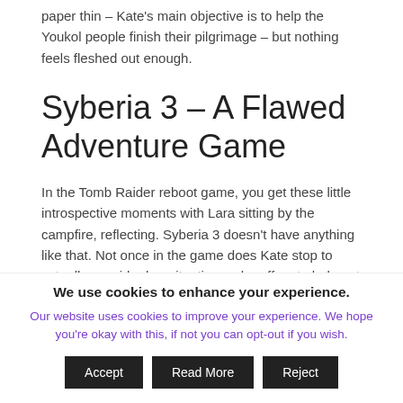paper thin – Kate's main objective is to help the Youkol people finish their pilgrimage – but nothing feels fleshed out enough.
Syberia 3 – A Flawed Adventure Game
In the Tomb Raider reboot game, you get these little introspective moments with Lara sitting by the campfire, reflecting. Syberia 3 doesn't have anything like that. Not once in the game does Kate stop to actually consider her situation – she offers to help out the Youkols despite not knowing them till she's recovered and rather than giving…
We use cookies to enhance your experience.
Our website uses cookies to improve your experience. We hope you're okay with this, if not you can opt-out if you wish.
Accept
Read More
Reject